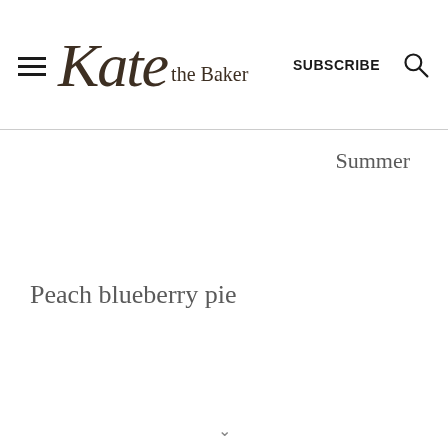Kate the Baker | SUBSCRIBE
Summer
Peach blueberry pie